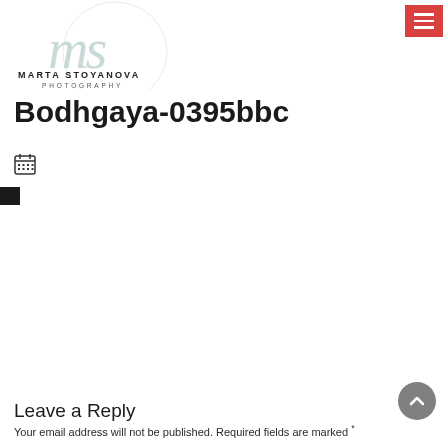[Figure (logo): Marta Stoyanova Photography logo with stylized 'ms' monogram in teal/mint and text 'MARTA STOYANOVA PHOTOGRAPHY']
Bodhgaya-0395bbc
[Figure (other): Calendar icon (grid of dots representing a calendar)]
[Figure (other): Small dark rectangular block on left edge, appears to be an image thumbnail or color swatch]
Leave a Reply
Your email address will not be published. Required fields are marked *